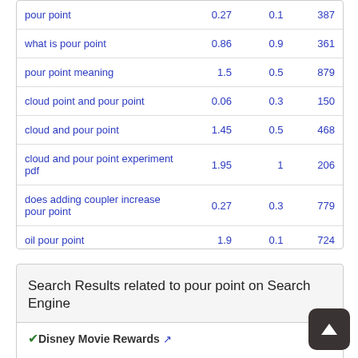| Keyword | Col2 | Col3 | Col4 |
| --- | --- | --- | --- |
| pour point | 0.27 | 0.1 | 387 |
| what is pour point | 0.86 | 0.9 | 361 |
| pour point meaning | 1.5 | 0.5 | 879 |
| cloud point and pour point | 0.06 | 0.3 | 150 |
| cloud and pour point | 1.45 | 0.5 | 468 |
| cloud and pour point experiment pdf | 1.95 | 1 | 206 |
| does adding coupler increase pour point | 0.27 | 0.3 | 779 |
| oil pour point | 1.9 | 0.1 | 724 |
Search Results related to pour point on Search Engine
Disney Movie Rewards